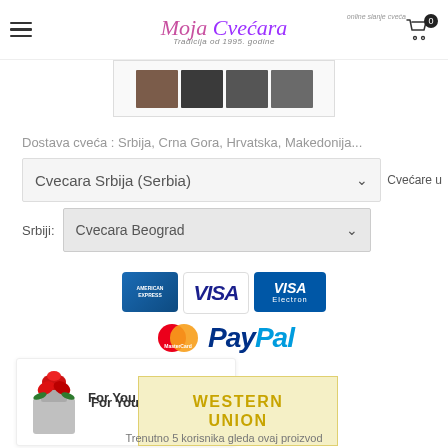Moja Cvećara — online slanje cveća, Tradicija od 1995. godine
[Figure (photo): Product image strip showing flowers]
Dostava cveća : Srbija, Crna Gora, Hrvatska, Makedonija...
Cvecara Srbija (Serbia) [dropdown] Cvećare u
Srbiji: Cvecara Beograd [dropdown]
[Figure (infographic): Payment method icons: American Express, Visa, Visa Electron, MasterCard, PayPal, Western Union]
[Figure (photo): Red flower product image]
For You
Trenutno 5 korisnika gleda ovaj proizvod